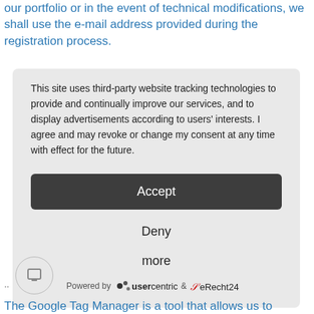our portfolio or in the event of technical modifications, we shall use the e-mail address provided during the registration process.
This site uses third-party website tracking technologies to provide and continually improve our services, and to display advertisements according to users' interests. I agree and may revoke or change my consent at any time with effect for the future.
Accept
Deny
more
Powered by usercentrics & eRecht24
The Google Tag Manager is a tool that allows us to